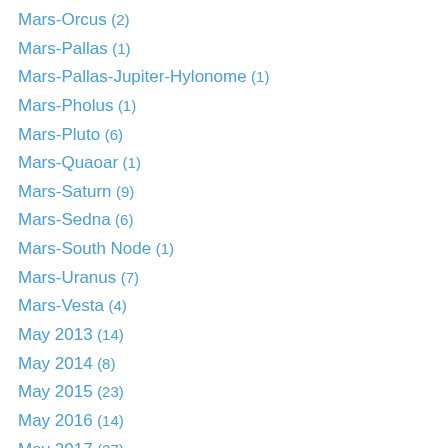Mars-Orcus (2)
Mars-Pallas (1)
Mars-Pallas-Jupiter-Hylonome (1)
Mars-Pholus (1)
Mars-Pluto (6)
Mars-Quaoar (1)
Mars-Saturn (9)
Mars-Sedna (6)
Mars-South Node (1)
Mars-Uranus (7)
Mars-Vesta (4)
May 2013 (14)
May 2014 (8)
May 2015 (23)
May 2016 (14)
May 2017 (27)
May 2018 (12)
May 2019 (13)
May 2020 (17)
May 2021 (2)